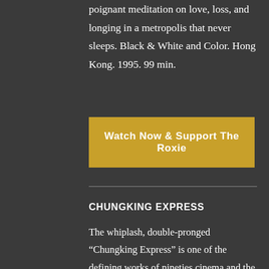poignant meditation on love, loss, and longing in a metropolis that never sleeps. Black & White and Color. Hong Kong. 1995. 99 min.
Watch Now & Support The Roxie
CHUNGKING EXPRESS
The whiplash, double-pronged “Chungking Express” is one of the defining works of nineties cinema and the film that made Hong Kong filmmaker Wong Kar Wai an instant icon. Two heartsick Hong Kong cops (Takeshi Kaneshiro and Tony Leung), both jilted by ex-lovers, cross paths at the Midnight Express take-out